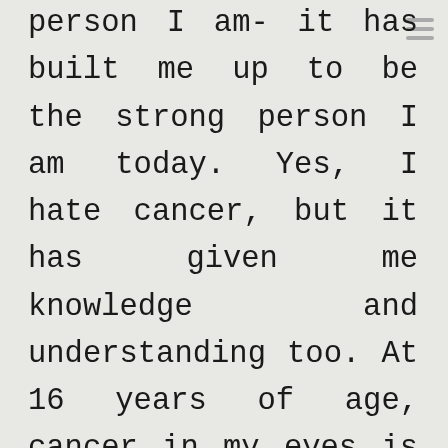person I am- it has built me up to be the strong person I am today. Yes, I hate cancer, but it has given me knowledge and understanding too. At 16 years of age, cancer in my eyes is a load of shit that happened to get in my way. It really sucks and I hate it so much :'( but at the same time, I wouldn't have met the people I now know and I